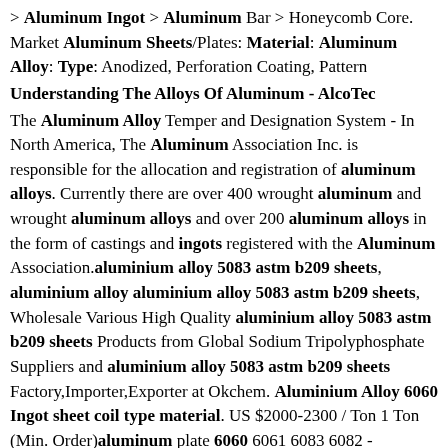> Aluminum Ingot > Aluminum Bar > Honeycomb Core. Market Aluminum Sheets/Plates: Material: Aluminum Alloy: Type: Anodized, Perforation Coating, Pattern
Understanding The Alloys Of Aluminum - AlcoTec
The Aluminum Alloy Temper and Designation System - In North America, The Aluminum Association Inc. is responsible for the allocation and registration of aluminum alloys. Currently there are over 400 wrought aluminum and wrought aluminum alloys and over 200 aluminum alloys in the form of castings and ingots registered with the Aluminum Association.aluminium alloy 5083 astm b209 sheets, aluminium alloy aluminium alloy 5083 astm b209 sheets, Wholesale Various High Quality aluminium alloy 5083 astm b209 sheets Products from Global Sodium Tripolyphosphate Suppliers and aluminium alloy 5083 astm b209 sheets Factory,Importer,Exporter at Okchem. Aluminium Alloy 6060 Ingot sheet coil type material. US $2000-2300 / Ton 1 Ton (Min. Order)aluminum plate 6060 6061 6083 6082 - jinpengmaquinaria